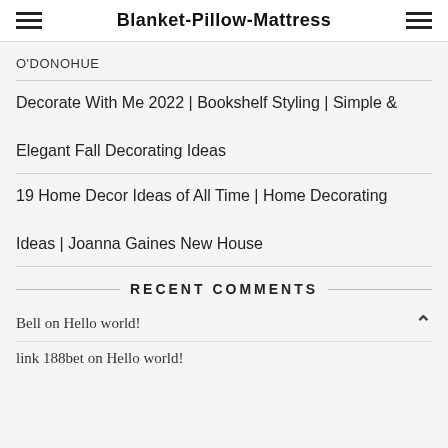Blanket-Pillow-Mattress
O'DONOHUE
Decorate With Me 2022 | Bookshelf Styling | Simple & Elegant Fall Decorating Ideas
19 Home Decor Ideas of All Time | Home Decorating Ideas | Joanna Gaines New House
RECENT COMMENTS
Bell on Hello world!
link 188bet on Hello world!